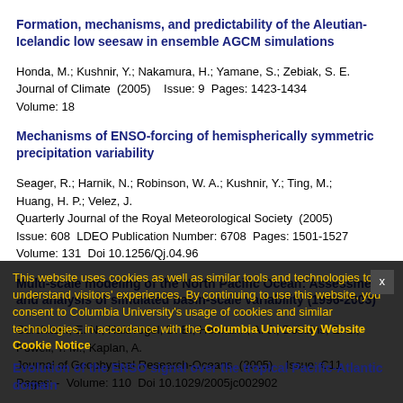Formation, mechanisms, and predictability of the Aleutian-Icelandic low seesaw in ensemble AGCM simulations
Honda, M.; Kushnir, Y.; Nakamura, H.; Yamane, S.; Zebiak, S. E.
Journal of Climate  (2005)    Issue: 9  Pages: 1423-1434
Volume: 18
Mechanisms of ENSO-forcing of hemispherically symmetric precipitation variability
Seager, R.; Harnik, N.; Robinson, W. A.; Kushnir, Y.; Ting, M.; Huang, H. P.; Velez, J.
Quarterly Journal of the Royal Meteorological Society  (2005)
Issue: 608  LDEO Publication Number: 6708  Pages: 1501-1527
Volume: 131  Doi 10.1256/Qj.04.96
Multi-scale modeling of the North Pacific Ocean: Assessment and analysis of simulated basin-scale variability (1996-2003)
Curchitser, E. N.; Haidvogel, D. B.; Hermann, A. J.; Dobbins, E. L.; Powell, T. M.; Kaplan, A.
Journal of Geophysical Research-Oceans  (2005)   Issue: C11
Pages: -  Volume: 110  Doi 10.1029/2005jc002902
This website uses cookies as well as similar tools and technologies to understand visitors' experiences. By continuing to use this website, you consent to Columbia University's usage of cookies and similar technologies, in accordance with the Columbia University Website Cookie Notice
Evolution of the ENSO signal over the tropical Pacific-Atlantic domain